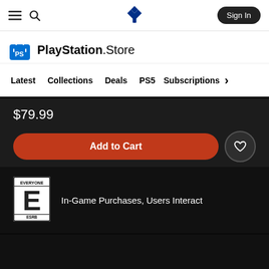Sign In
[Figure (logo): PlayStation Store logo with shopping bag icon and PlayStation logo in header]
Latest  Collections  Deals  PS5  Subscriptions >
$79.99
Add to Cart
[Figure (logo): ESRB Everyone (E) rating badge]
In-Game Purchases, Users Interact